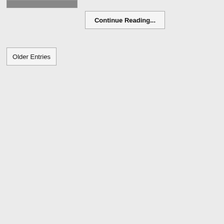[Figure (photo): Partial image thumbnail visible at top left, showing people, cropped at top]
Continue Reading...
Older Entries